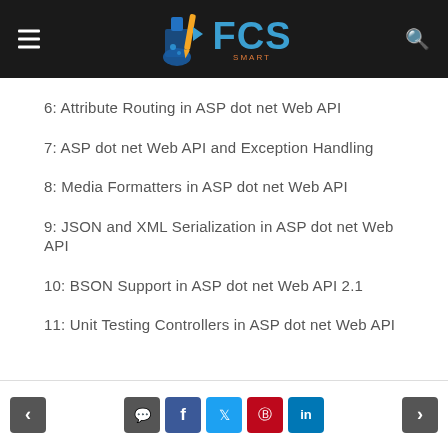FCS Smart — site header with navigation
6: Attribute Routing in ASP dot net Web API
7: ASP dot net Web API and Exception Handling
8: Media Formatters in ASP dot net Web API
9: JSON and XML Serialization in ASP dot net Web API
10: BSON Support in ASP dot net Web API 2.1
11: Unit Testing Controllers in ASP dot net Web API
Navigation and social share buttons